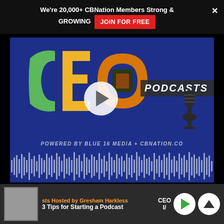We're 20,000+ CBNation Members Strong & GROWING  JOIN FOR FREE
[Figure (screenshot): CEO Podcasts thumbnail with blue background, CEO logo in green/yellow/orange letters, PODCASTS text banner with microphone icon, play button overlay, 'POWERED BY BLUE 16 MEDIA + CBNATION.CO' text, and audio waveform at bottom]
sts Hosted by Gresham Harkless  CEO  3 Tips for Starting a Podcast  I/